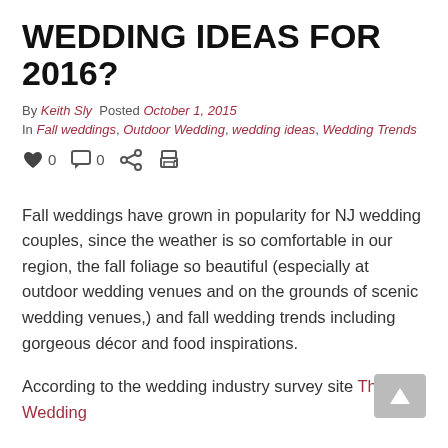WEDDING IDEAS FOR 2016?
By Keith Sly  Posted October 1, 2015
In Fall weddings, Outdoor Wedding, wedding ideas, Wedding Trends
[Figure (infographic): Social interaction bar with heart icon (0 likes), comment icon (0 comments), share icon, and print icon]
Fall weddings have grown in popularity for NJ wedding couples, since the weather is so comfortable in our region, the fall foliage so beautiful (especially at outdoor wedding venues and on the grounds of scenic wedding venues,) and fall wedding trends including gorgeous décor and food inspirations.
According to the wedding industry survey site The Wedding